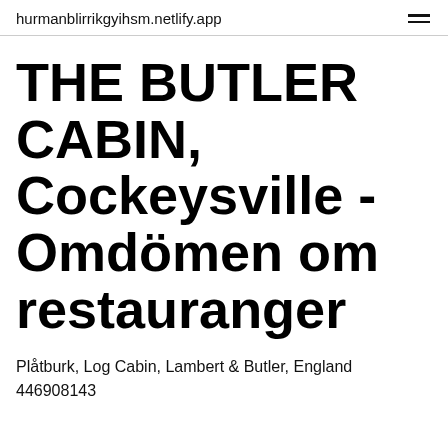hurmanblirrikgyihsm.netlify.app
THE BUTLER CABIN, Cockeysville - Omdömen om restauranger
Plåtburk, Log Cabin, Lambert & Butler, England 446908143